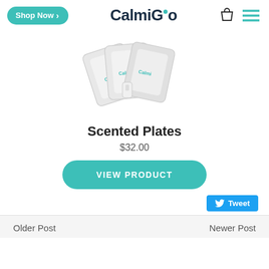Shop Now | CalmiGo | [cart icon] [menu icon]
[Figure (photo): Three white scented plate packets with CalmiGo branding, fanned out, with a small white device in front]
Scented Plates
$32.00
VIEW PRODUCT
Tweet
Older Post | Newer Post